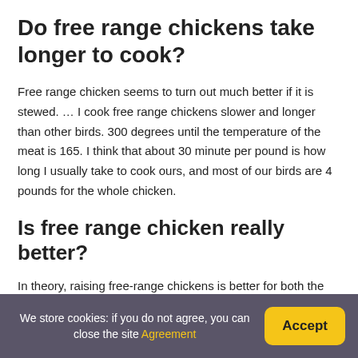Do free range chickens take longer to cook?
Free range chicken seems to turn out much better if it is stewed. … I cook free range chickens slower and longer than other birds. 300 degrees until the temperature of the meat is 165. I think that about 30 minute per pound is how long I usually take to cook ours, and most of our birds are 4 pounds for the whole chicken.
Is free range chicken really better?
In theory, raising free-range chickens is better for both the chickens and the consumers, compared with conventionally raised chickens. … Another study found that meat from free-range
We store cookies: if you do not agree, you can close the site Agreement